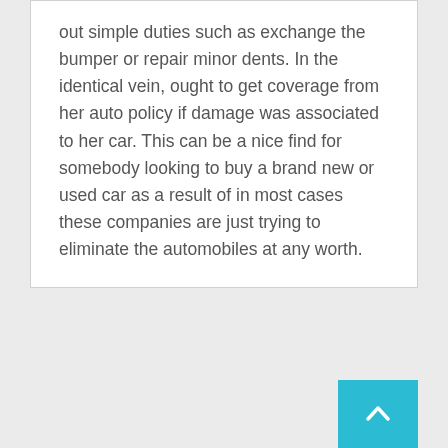out simple duties such as exchange the bumper or repair minor dents. In the identical vein, ought to get coverage from her auto policy if damage was associated to her car. This can be a nice find for somebody looking to buy a brand new or used car as a result of in most cases these companies are just trying to eliminate the automobiles at any worth.